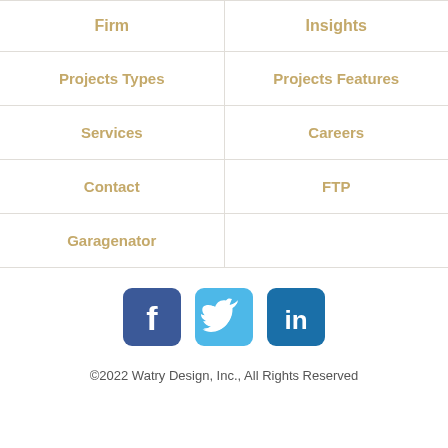| Firm | Insights |
| --- | --- |
| Projects Types | Projects Features |
| Services | Careers |
| Contact | FTP |
| Garagenator |  |
[Figure (illustration): Three social media icons: Facebook (dark blue), Twitter (light blue), LinkedIn (dark blue), each with rounded square backgrounds]
©2022 Watry Design, Inc., All Rights Reserved